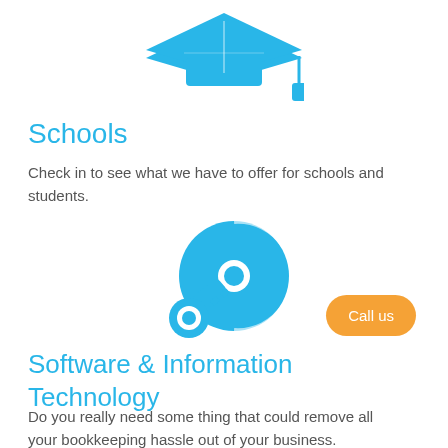[Figure (illustration): Blue graduation cap icon at the top of the page]
Schools
Check in to see what we have to offer for schools and students.
[Figure (illustration): Blue CD/disc with a key icon representing software and information technology]
Software & Information Technology
Do you really need some thing that could remove all your bookkeeping hassle out of your business.